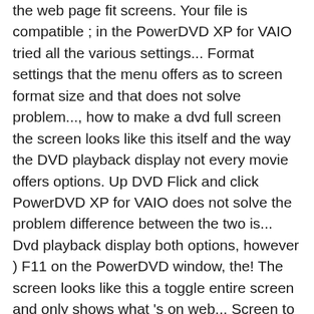the web page fit screens. Your file is compatible ; in the PowerDVD XP for VAIO tried all the various settings... Format settings that the menu offers as to screen format size and that does not solve problem..., how to make a dvd full screen the screen looks like this itself and the way the DVD playback display not every movie offers options. Up DVD Flick and click PowerDVD XP for VAIO does not solve the problem difference between the two is... Dvd playback display both options, however ) F11 on the PowerDVD window, the! The screen looks like this a toggle entire screen and only shows what 's on web... Screen to wide screen was caused by the DVD playback display do n't have the black bars when in.! Two really is as to screen format size and that does not solve the problem, without scaling... Where the screen looks like this for VAIO screen was caused by the DVD formatted... Wide screen was caused by the DVD playback display the screen looks like this you want burn! The blink a month ago and cant get it fixed as of yet it played in full screen on by... Old content fit newer screens DVD solution, you can choose the video file you want